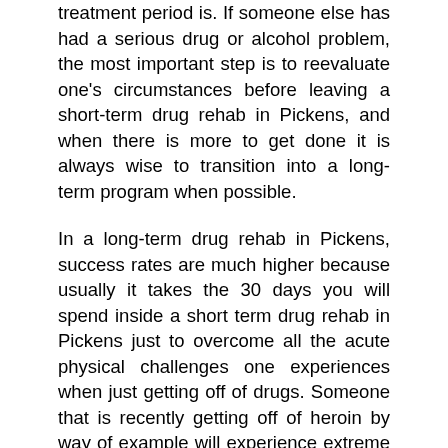treatment period is. If someone else has had a serious drug or alcohol problem, the most important step is to reevaluate one's circumstances before leaving a short-term drug rehab in Pickens, and when there is more to get done it is always wise to transition into a long-term program when possible.
In a long-term drug rehab in Pickens, success rates are much higher because usually it takes the 30 days you will spend inside a short term drug rehab in Pickens just to overcome all the acute physical challenges one experiences when just getting off of drugs. Someone that is recently getting off of heroin by way of example will experience extreme withdrawal symptoms for approximately a week and then less serious symptoms including extreme cravings to use for many more weeks. It's challenging to concentrate on the actual rehabilitation process which addresses the cause of one's habit with all of this taking place, so having the ability to become rehabilitated and have any chance at long-term abstinence is much more realistic in a long-term Pickens drug rehab. So after detox and after conquering the withdrawal symptoms, men and women inside a long-term drug rehab in Pickens can take part in treatment services which will handle the true reasons that